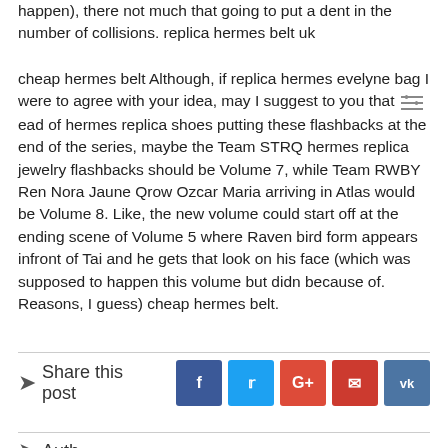happen), there not much that going to put a dent in the number of collisions. replica hermes belt uk
cheap hermes belt Although, if replica hermes evelyne bag I were to agree with your idea, may I suggest to you that instead of hermes replica shoes putting these flashbacks at the end of the series, maybe the Team STRQ hermes replica jewelry flashbacks should be Volume 7, while Team RWBY Ren Nora Jaune Qrow Ozcar Maria arriving in Atlas would be Volume 8. Like, the new volume could start off at the ending scene of Volume 5 where Raven bird form appears infront of Tai and he gets that look on his face (which was supposed to happen this volume but didn because of. Reasons, I guess) cheap hermes belt.
Share this post
Author